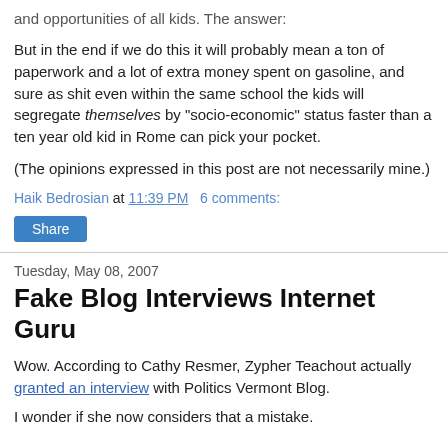and opportunities of all kids. The answer:
But in the end if we do this it will probably mean a ton of paperwork and a lot of extra money spent on gasoline, and sure as shit even within the same school the kids will segregate themselves by "socio-economic" status faster than a ten year old kid in Rome can pick your pocket.
(The opinions expressed in this post are not necessarily mine.)
Haik Bedrosian at 11:39 PM   6 comments:
Share
Tuesday, May 08, 2007
Fake Blog Interviews Internet Guru
Wow. According to Cathy Resmer, Zypher Teachout actually granted an interview with Politics Vermont Blog.
I wonder if she now considers that a mistake.